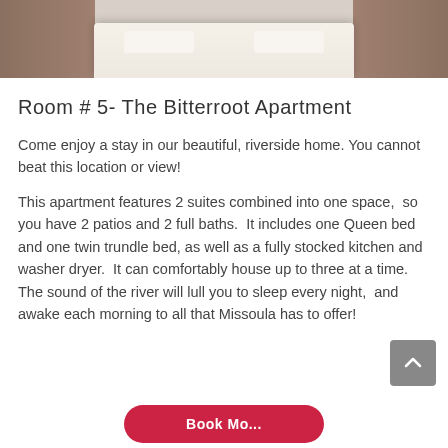[Figure (photo): Interior photo of a bedroom with a bed covered in a dotted/textured white bedspread, hardwood floor visible on sides, wall in background.]
Room # 5- The Bitterroot Apartment
Come enjoy a stay in our beautiful, riverside home. You cannot beat this location or view!
This apartment features 2 suites combined into one space,  so you have 2 patios and 2 full baths.  It includes one Queen bed and one twin trundle bed, as well as a fully stocked kitchen and washer dryer.  It can comfortably house up to three at a time.
The sound of the river will lull you to sleep every night,  and awake each morning to all that Missoula has to offer!